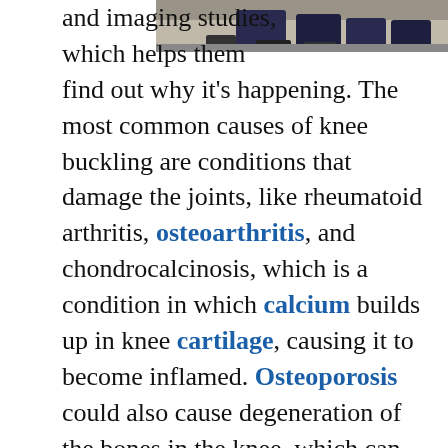[Figure (photo): Photo of people's legs and feet, cropped at the top of the page on the right side]
and imaging studies, which helps them find out why it's happening. The most common causes of knee buckling are conditions that damage the joints, like rheumatoid arthritis, osteoarthritis, and chondrocalcinosis, which is a condition in which calcium builds up in knee cartilage, causing it to become inflamed. Osteoporosis could also cause degeneration of the bones in the knee, which can also lead to buckling.